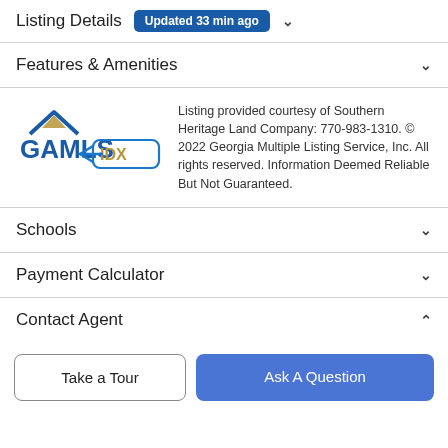Listing Details  Updated 33 min ago
Features & Amenities
[Figure (logo): GAMLS IDX logo — blue 'GAMLS' text with gold/tan roof icon above, 'IDX' in a rounded rectangle with a blue arrow]
Listing provided courtesy of Southern Heritage Land Company: 770-983-1310. © 2022 Georgia Multiple Listing Service, Inc. All rights reserved. Information Deemed Reliable But Not Guaranteed.
Schools
Payment Calculator
Contact Agent
Take a Tour
Ask A Question